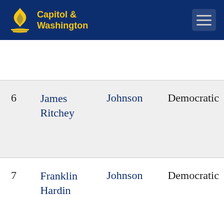Capitol & Washington
| # | Name | County | Party |
| --- | --- | --- | --- |
| 6 | James Ritchey | Johnson | Democratic |
| 7 | Franklin Hardin | Johnson | Democratic |
| 8 | Gilderoy Hicks | Johnson | Democratic |
| 9 | John W | Johnson | Democratic |